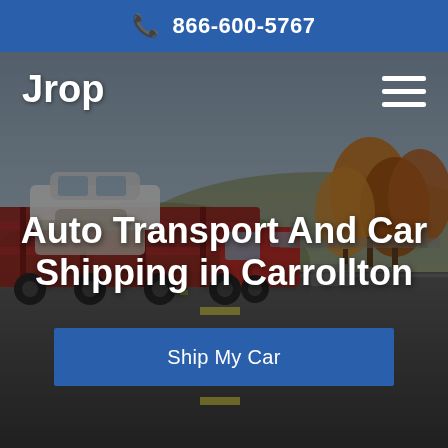866-600-5767
Jrop
[Figure (screenshot): Hero image showing a car carrier truck transporting multiple vehicles on a highway, with trees and road visible in the background. Dark overlay applied over the photo.]
Auto Transport And Car Shipping in Carrollton
Ship My Car